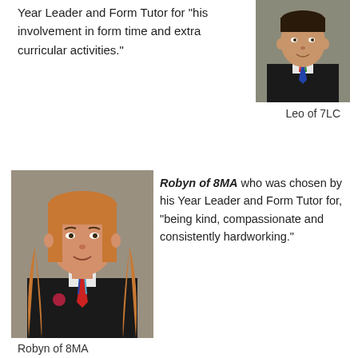Year Leader and Form Tutor for "his involvement in form time and extra curricular activities."
[Figure (photo): School photo of Leo, a boy in black school uniform with striped tie]
Leo of 7LC
[Figure (photo): School photo of Robyn, a girl with long wavy hair in black school uniform with red striped tie]
Robyn of 8MA who was chosen by his Year Leader and Form Tutor for, "being kind, compassionate and consistently hardworking."
Robyn of 8MA